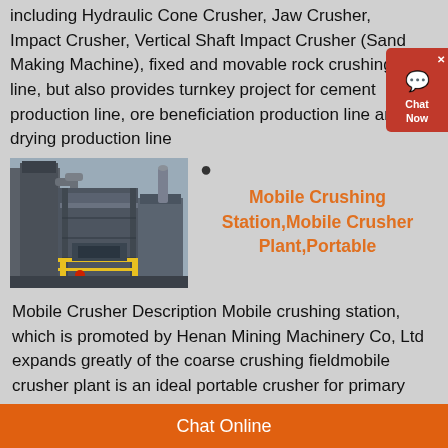including Hydraulic Cone Crusher, Jaw Crusher, Impact Crusher, Vertical Shaft Impact Crusher (Sand Making Machine), fixed and movable rock crushing line, but also provides turnkey project for cement production line, ore beneficiation production line and drying production line
[Figure (photo): Industrial photo of a mobile crushing station/plant showing large metal machinery, pipes, and structure against a sky background with a worker visible at the base]
Mobile Crushing Station,Mobile Crusher Plant,Portable
Mobile Crusher Description Mobile crushing station, which is promoted by Henan Mining Machinery Co, Ltd expands greatly of the coarse crushing fieldmobile crusher plant is an ideal portable crusher for primary crushing in large quarries portable jaw crusher plants are built around proven jaw crusher concepts.
Chat Online